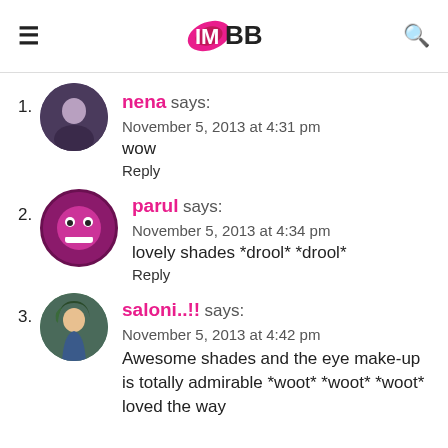IMBB logo with hamburger menu and search icon
1. nena says: November 5, 2013 at 4:31 pm
wow
Reply
2. parul says: November 5, 2013 at 4:34 pm
lovely shades *drool* *drool*
Reply
3. saloni..!! says: November 5, 2013 at 4:42 pm
Awesome shades and the eye make-up is totally admirable *woot* *woot* *woot* loved the way